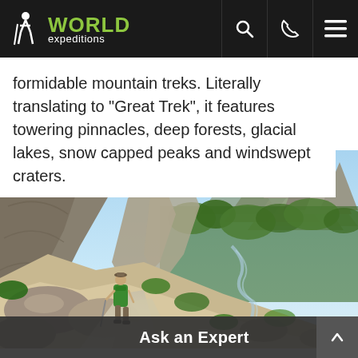World Expeditions
formidable mountain treks. Literally translating to 'Great Trek', it features towering pinnacles, deep forests, glacial lakes, snow capped peaks and windswept craters.
[Figure (photo): A hiker with a green backpack and trekking pole walks along a rocky trail through a dramatic mountain gorge with towering pinnacles, dense vegetation, and a river valley below under a partly cloudy sky.]
Ask an Expert